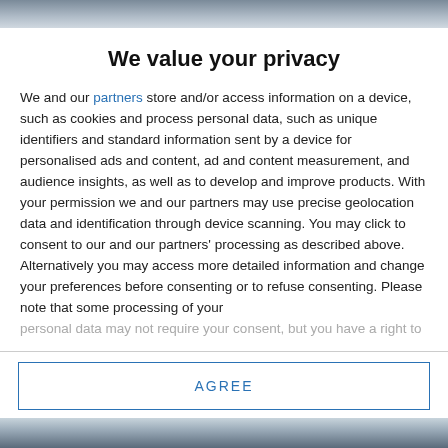[Figure (photo): Partial photo visible at the top of the page, cropped]
We value your privacy
We and our partners store and/or access information on a device, such as cookies and process personal data, such as unique identifiers and standard information sent by a device for personalised ads and content, ad and content measurement, and audience insights, as well as to develop and improve products. With your permission we and our partners may use precise geolocation data and identification through device scanning. You may click to consent to our and our partners' processing as described above. Alternatively you may access more detailed information and change your preferences before consenting or to refuse consenting. Please note that some processing of your personal data may not require your consent, but you have a right to
AGREE
MORE OPTIONS
[Figure (photo): Partial photo visible at the bottom of the page, cropped]